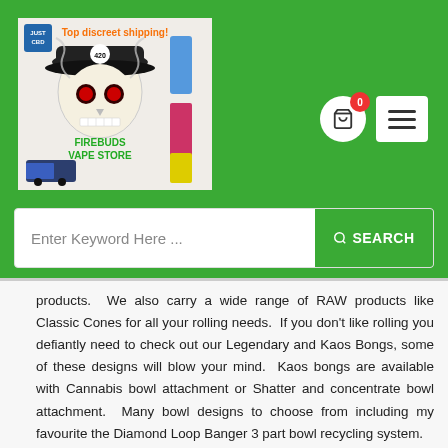[Figure (illustration): Firebuds Vape Store logo featuring a skull wearing a cap with '420' symbol, red eyes, smoke clouds, vape products, a delivery truck, and text reading 'Top discreet shipping' in orange and 'FIREBUDS VAPE STORE' in green, along with 'JUST CBD' branding.]
Enter Keyword Here ...
products.  We also carry a wide range of RAW products like Classic Cones for all your rolling needs.  If you don't like rolling you defiantly need to check out our Legendary and Kaos Bongs, some of these designs will blow your mind.  Kaos bongs are available with Cannabis bowl attachment or Shatter and concentrate bowl attachment.  Many bowl designs to choose from including my favourite the Diamond Loop Banger 3 part bowl recycling system.